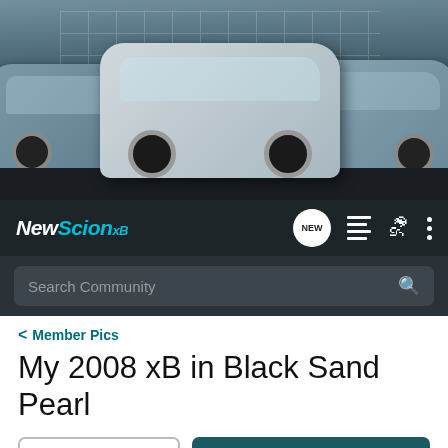[Figure (photo): Promotional banner showing three Scion xB vehicles in silver and grey tones parked in an urban environment with glass building backdrop]
NewScionxB
Search Community
< Member Pics
My 2008 xB in Black Sand Pearl
→ Jump to Latest
+ Follow
1 - 10 of 10 Posts
Invertalon · Registered
Joined Aug 22, 2007 · 50 Posts